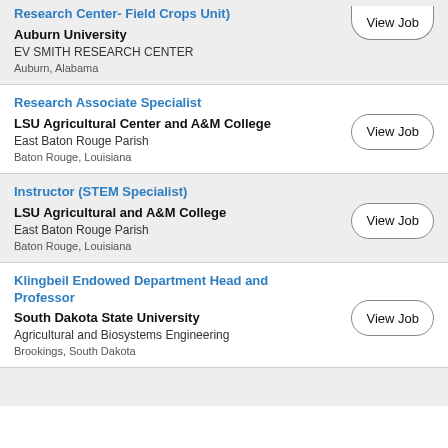Research Center- Field Crops Unit) | Auburn University | EV SMITH RESEARCH CENTER | Auburn, Alabama
Research Associate Specialist | LSU Agricultural Center and A&M College | East Baton Rouge Parish | Baton Rouge, Louisiana
Instructor (STEM Specialist) | LSU Agricultural and A&M College | East Baton Rouge Parish | Baton Rouge, Louisiana
Klingbeil Endowed Department Head and Professor | South Dakota State University | Agricultural and Biosystems Engineering | Brookings, South Dakota